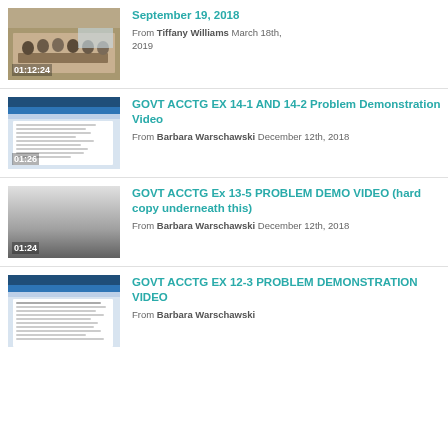[Figure (screenshot): Video thumbnail showing people around a conference table, duration 01:12:24]
September 19, 2018
From Tiffany Williams March 18th, 2019
[Figure (screenshot): Video thumbnail showing a Word document with text, duration 01:26]
GOVT ACCTG EX 14-1 AND 14-2 Problem Demonstration Video
From Barbara Warschawski December 12th, 2018
[Figure (screenshot): Video thumbnail showing a gray gradient screen, duration 01:24]
GOVT ACCTG Ex 13-5 PROBLEM DEMO VIDEO (hard copy underneath this)
From Barbara Warschawski December 12th, 2018
[Figure (screenshot): Video thumbnail showing a Word document with text, partially visible]
GOVT ACCTG EX 12-3 PROBLEM DEMONSTRATION VIDEO
From Barbara Warschawski